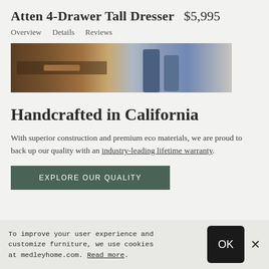Atten 4-Drawer Tall Dresser   $5,995
Overview
Details
Reviews
[Figure (photo): Partial view of the Atten dresser with an open drawer, showing dark wood furniture and a person's legs in jeans walking past on a light wood floor.]
Handcrafted in California
With superior construction and premium eco materials, we are proud to back up our quality with an industry-leading lifetime warranty.
EXPLORE OUR QUALITY
To improve your user experience and customize furniture, we use cookies at medleyhome.com. Read more.